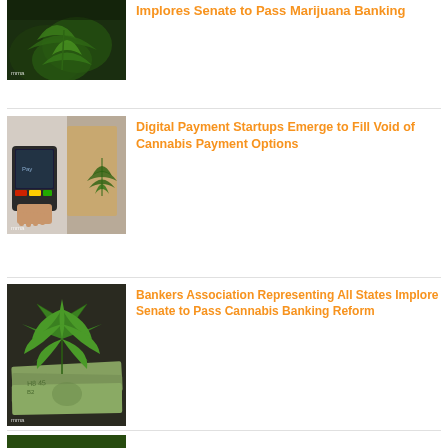[Figure (photo): Cannabis marijuana plants close-up, dark background with 'mma' watermark]
Implores Senate to Pass Marijuana Banking
[Figure (photo): Hand holding payment terminal next to cannabis leaf on paper bag, 'mma' watermark]
Digital Payment Startups Emerge to Fill Void of Cannabis Payment Options
[Figure (photo): Cannabis marijuana leaf on top of US dollar bills, 'mma' watermark]
Bankers Association Representing All States Implore Senate to Pass Cannabis Banking Reform
[Figure (photo): Partial cannabis-related image at bottom of page (cut off)]